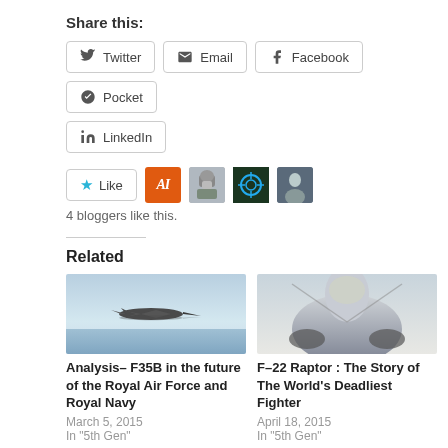Share this:
Twitter
Email
Facebook
Pocket
LinkedIn
[Figure (other): Like button with star icon, followed by 4 blogger avatar thumbnails]
4 bloggers like this.
Related
[Figure (photo): F-35B fighter jet flying low over water with reflection visible]
[Figure (photo): Close-up front view of F-22 Raptor fighter jet nose and cockpit]
Analysis– F35B in the future of the Royal Air Force and Royal Navy
March 5, 2015
In "5th Gen"
F–22 Raptor : The Story of The World's Deadliest Fighter
April 18, 2015
In "5th Gen"